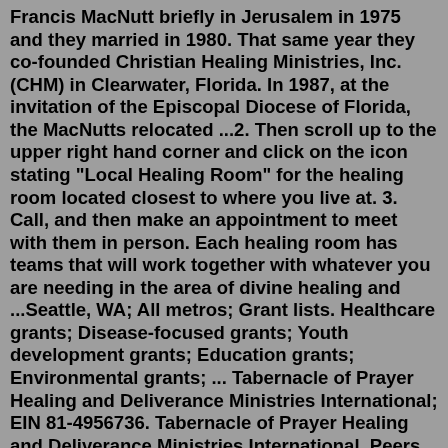Francis MacNutt briefly in Jerusalem in 1975 and they married in 1980. That same year they co-founded Christian Healing Ministries, Inc. (CHM) in Clearwater, Florida. In 1987, at the invitation of the Episcopal Diocese of Florida, the MacNutts relocated ...2. Then scroll up to the upper right hand corner and click on the icon stating "Local Healing Room" for the healing room located closest to where you live at. 3. Call, and then make an appointment to meet with them in person. Each healing room has teams that will work together with whatever you are needing in the area of divine healing and ...Seattle, WA; All metros; Grant lists. Healthcare grants; Disease-focused grants; Youth development grants; Education grants; Environmental grants; ... Tabernacle of Prayer Healing and Deliverance Ministries International; EIN 81-4956736. Tabernacle of Prayer Healing and Deliverance Ministries International. Peers. IRS 501(c) type. 501(c)(3) Num ...Love Connection Ministry Church for Jesus Christ : 50